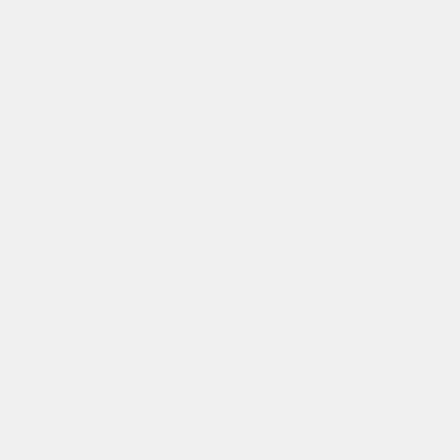-mouredly parrying gauntlet
-mouredly parrying gauntlet